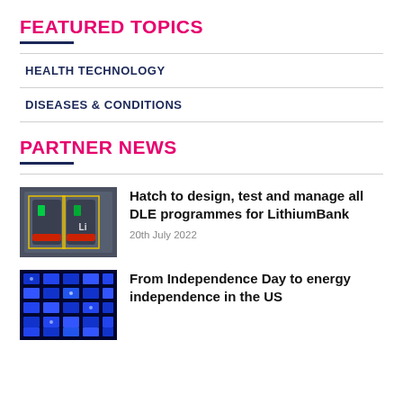FEATURED TOPICS
HEALTH TECHNOLOGY
DISEASES & CONDITIONS
PARTNER NEWS
[Figure (photo): Thumbnail image of a lithium battery testing setup with yellow grid overlay on dark background]
Hatch to design, test and manage all DLE programmes for LithiumBank
20th July 2022
[Figure (photo): Thumbnail image of blue-lit electronic chips or circuit board components]
From Independence Day to energy independence in the US